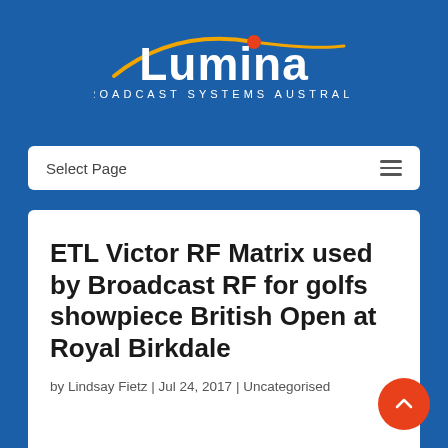[Figure (logo): Lumina Broadcast Systems Australia logo — white text 'Lumina' with yellow arc and red dot, on blue background]
[Figure (screenshot): Navigation bar with 'Select Page' text and hamburger menu icon, white rounded rectangle on blue background]
ETL Victor RF Matrix used by Broadcast RF for golfs showpiece British Open at Royal Birkdale
by Lindsay Fietz | Jul 24, 2017 | Uncategorised